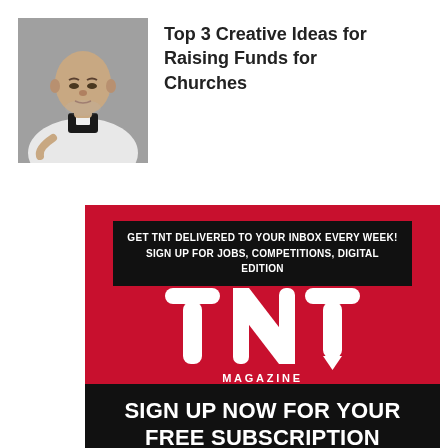[Figure (photo): Photo of a bald man in a priest collar and white vestment, looking down, against a grey background]
Top 3 Creative Ideas for Raising Funds for Churches
[Figure (infographic): TNT Magazine advertisement on red background. Top black box: 'GET TNT DELIVERED TO YOUR INBOX EVERY WEEK! SIGN UP FOR JOBS, COMPETITIONS, DIGITAL EDITION'. Large white TNT logo with 'MAGAZINE' below. Bottom black box: 'SIGN UP NOW FOR YOUR FREE SUBSCRIPTION']